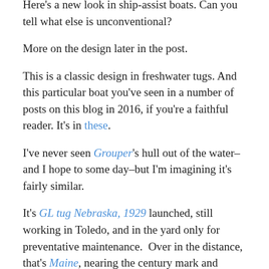Here's a new look in ship-assist boats.  Can you tell what else is unconventional?
More on the design later in the post.
This is a classic design in freshwater tugs.  And this particular boat you've seen in a number of posts on this blog in 2016, if you're a faithful reader.  It's in these.
I've never seen Grouper's hull out of the water–and I hope to some day–but I'm imagining it's fairly similar.
It's GL tug Nebraska, 1929 launched, still working in Toledo, and in the yard only for preventative maintenance.  Over in the distance, that's Maine, nearing the century mark and likely to be scrapped soon.  Here's an entire page with links devoted to GL tugs.